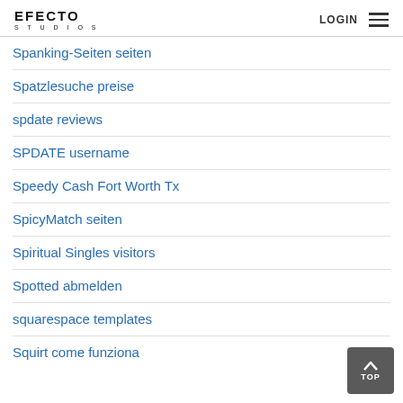EFECTO STUDIOS | LOGIN
Spanking-Seiten seiten
Spatzlesuche preise
spdate reviews
SPDATE username
Speedy Cash Fort Worth Tx
SpicyMatch seiten
Spiritual Singles visitors
Spotted abmelden
squarespace templates
Squirt come funziona